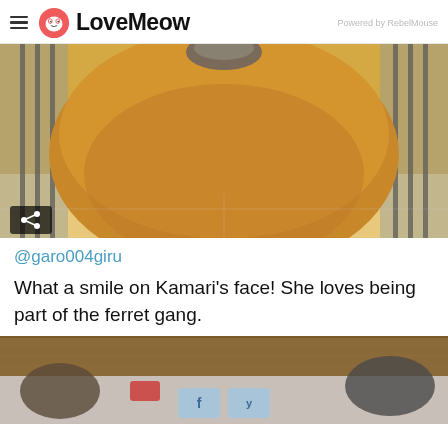LoveMeow — Powered by RebelMouse
[Figure (photo): Close-up photo of a cat hanging in a yellow/golden fabric hammock or pouch, viewed from below, with black metal bars in the background]
@garo004giru
What a smile on Kamari's face! She loves being part of the ferret gang.
[Figure (photo): Partial photo of cats on a wooden surface with social media sharing buttons (Facebook and Twitter) overlaid at the bottom center]